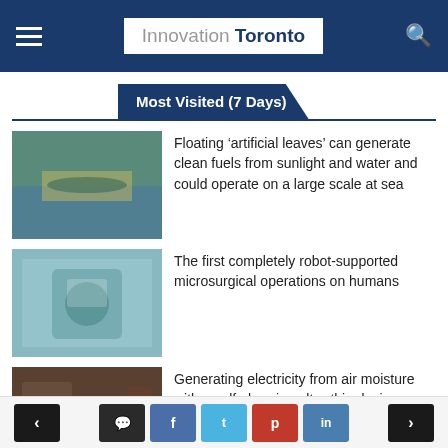Innovation Toronto
Most Visited (7 Days)
Floating ‘artificial leaves’ can generate clean fuels from sunlight and water and could operate on a large scale at sea
The first completely robot-supported microsurgical operations on humans
Generating electricity from air moisture with a self-charging ultra-thin device yields a high electrical output
Swarms of microrobots injected into the body could unblock internal medical